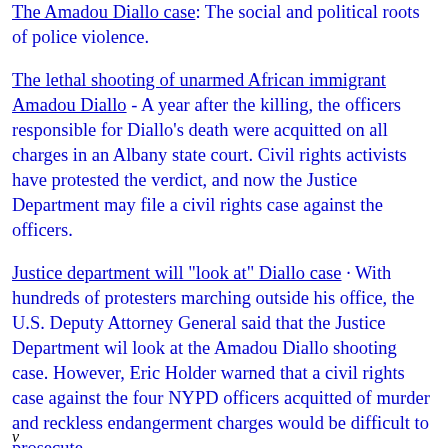The Amadou Diallo case: The social and political roots of police violence.
The lethal shooting of unarmed African immigrant Amadou Diallo - A year after the killing, the officers responsible for Diallo's death were acquitted on all charges in an Albany state court. Civil rights activists have protested the verdict, and now the Justice Department may file a civil rights case against the officers.
Justice department will "look at" Diallo case - With hundreds of protesters marching outside his office, the U.S. Deputy Attorney General said that the Justice Department wil look at the Amadou Diallo shooting case. However, Eric Holder warned that a civil rights case against the four NYPD officers acquitted of murder and reckless endangerment charges would be difficult to prosecute.